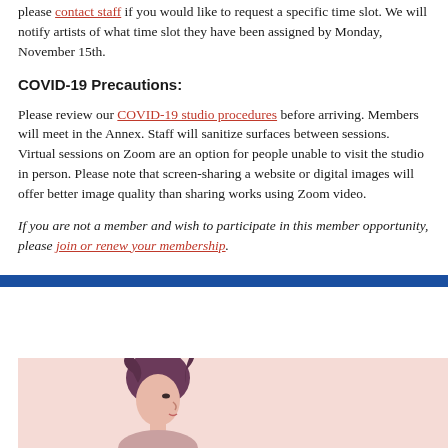please contact staff if you would like to request a specific time slot. We will notify artists of what time slot they have been assigned by Monday, November 15th.
COVID-19 Precautions:
Please review our COVID-19 studio procedures before arriving. Members will meet in the Annex. Staff will sanitize surfaces between sessions. Virtual sessions on Zoom are an option for people unable to visit the studio in person. Please note that screen-sharing a website or digital images will offer better image quality than sharing works using Zoom video.
If you are not a member and wish to participate in this member opportunity, please join or renew your membership.
[Figure (illustration): A pink/peach colored background panel with a profile portrait illustration of a person with dark hair.]